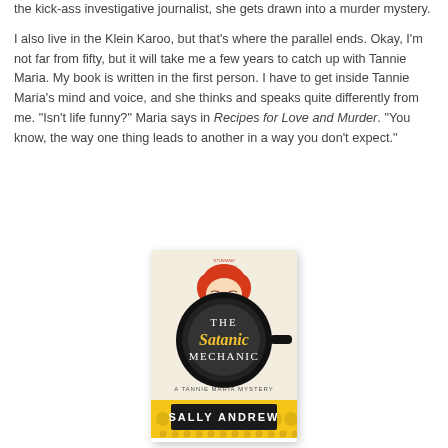the kick-ass investigative journalist, she gets drawn into a murder mystery.
I also live in the Klein Karoo, but that's where the parallel ends. Okay, I'm not far from fifty, but it will take me a few years to catch up with Tannie Maria. My book is written in the first person. I have to get inside Tannie Maria's mind and voice, and she thinks and speaks quite differently from me. "Isn't life funny?" Maria says in Recipes for Love and Murder. "You know, the way one thing leads to another in a way you don't expect."
[Figure (illustration): Book cover of 'The Satanic Mechanic – A Tannie Maria Mystery' by Sally Andrew. Features a woman with red hair peeking over a black frying pan. Yellow decorative border at the bottom with the author's name.]